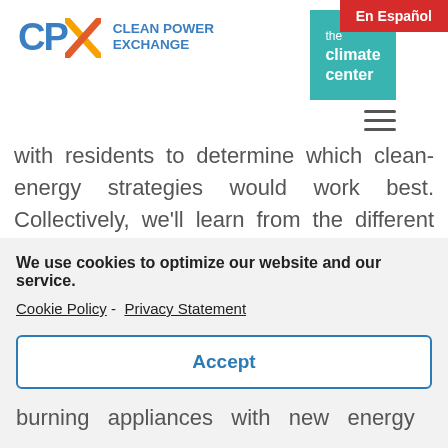[Figure (logo): CPX Clean Power Exchange logo with blue CPX letters and orange/red X mark]
[Figure (logo): The Climate Center logo in teal/green square]
En Español
with residents to determine which clean-energy strategies would work best. Collectively, we'll learn from the different experiences as we move forward and seek to replicate the successes in other
We use cookies to optimize our website and our service. Cookie Policy - Privacy Statement
Accept
burning appliances with new energy